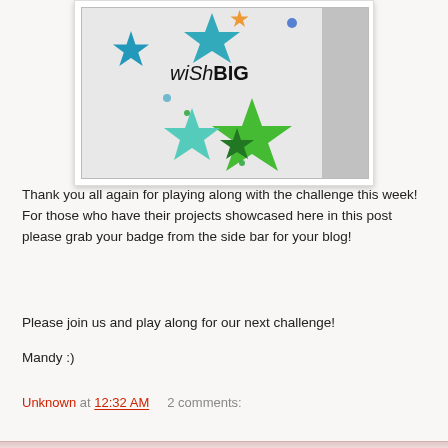[Figure (photo): A greeting card with colorful star shapes (teal, green, blue) and the text 'wish BIG' printed on it, displayed in a white-bordered photo frame with drop shadow.]
Thank you all again for playing along with the challenge this week! For those who have their projects showcased here in this post please grab your badge from the side bar for your blog!
Please join us and play along for our next challenge!
Mandy :)
Unknown at 12:32 AM    2 comments: